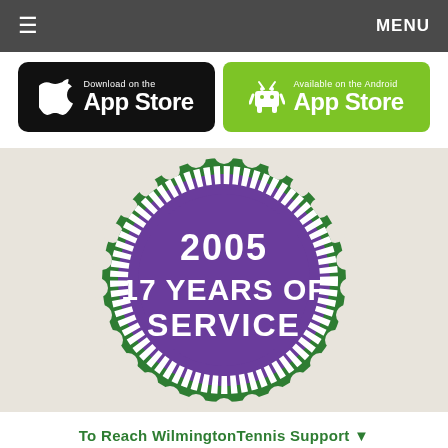≡  MENU
[Figure (logo): Apple App Store download button - black rounded rectangle with Apple logo and text 'Download on the App Store']
[Figure (logo): Android App Store download button - green rounded rectangle with Android robot logo and text 'Available on the Android App Store']
[Figure (illustration): Circular seal/badge with green scalloped outer edge, purple interior circle with white chevron border decoration, text reads '2005 17 YEARS OF SERVICE']
To Reach WilmingtonTennis Support ▼